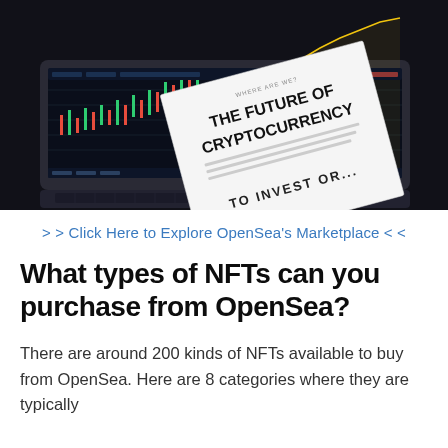[Figure (photo): Photo of a laptop showing a cryptocurrency trading chart on screen, with a printed document titled 'THE FUTURE OF CRYPTOCURRENCY' and 'TO INVEST OR...' overlaid in the foreground.]
> > Click Here to Explore OpenSea's Marketplace < <
What types of NFTs can you purchase from OpenSea?
There are around 200 kinds of NFTs available to buy from OpenSea. Here are 8 categories where they are typically